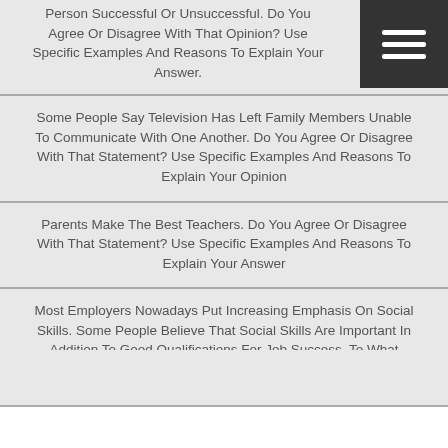Person Successful Or Unsuccessful. Do You Agree Or Disagree With That Opinion? Use Specific Examples And Reasons To Explain Your Answer.
Some People Say Television Has Left Family Members Unable To Communicate With One Another. Do You Agree Or Disagree With That Statement? Use Specific Examples And Reasons To Explain Your Opinion
Parents Make The Best Teachers. Do You Agree Or Disagree With That Statement? Use Specific Examples And Reasons To Explain Your Answer
Most Employers Nowadays Put Increasing Emphasis On Social Skills. Some People Believe That Social Skills Are Important In Addition To Good Qualifications For Job Success. To What Extent, Do You Agree Or Disagree?